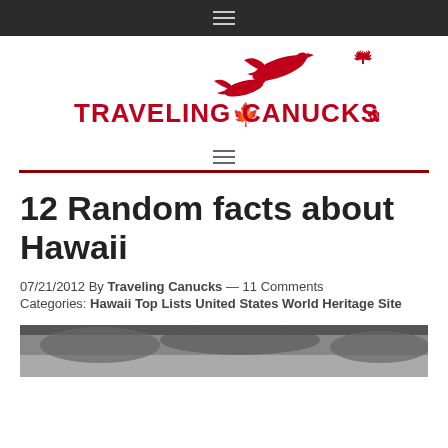≡ (navigation bar)
[Figure (logo): Traveling Canucks logo with red geese and text in red bold capitals: TRAVELING CANUCKS with a maple leaf]
≡ (secondary navigation bar)
12 Random facts about Hawaii
07/21/2012 By Traveling Canucks — 11 Comments
Categories: Hawaii Top Lists United States World Heritage Site
[Figure (photo): Partial view of a black and white photograph at the bottom of the page]